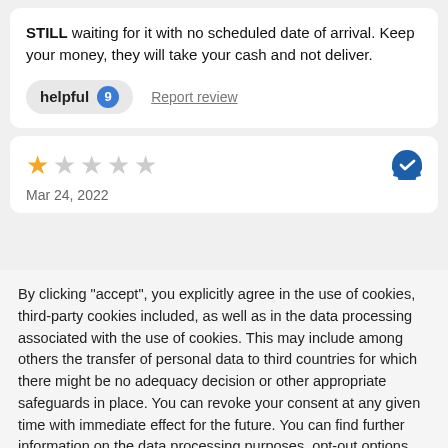STILL waiting for it with no scheduled date of arrival. Keep your money, they will take your cash and not deliver.
helpful 9   Report review
[Figure (other): 1-star rating (1 filled star, 4 empty stars) with a blue verified badge icon, and date Mar 24, 2022]
By clicking "accept", you explicitly agree in the use of cookies, third-party cookies included, as well as in the data processing associated with the use of cookies. This may include among others the transfer of personal data to third countries for which there might be no adequacy decision or other appropriate safeguards in place. You can revoke your consent at any given time with immediate effect for the future. You can find further information on the data processing purposes, opt-out options, your rights, and the risks of data transfers to third countries here.
ACCEPT